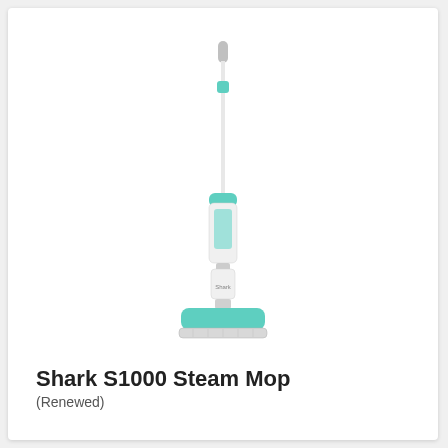[Figure (photo): A Shark S1000 Steam Mop shown upright against a white background. The mop has a long white pole with teal/mint green accents, a body unit with a teal water tank, and a rectangular mop head at the base with a microfiber pad.]
Shark S1000 Steam Mop
(Renewed)